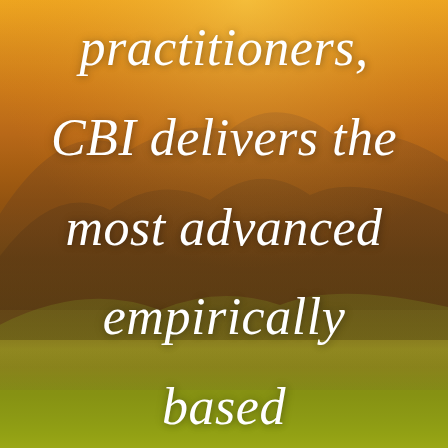[Figure (photo): Scenic landscape photo with golden sunset light over rolling mountains and green grassy foreground hills, warm orange and golden tones throughout]
practitioners, CBI delivers the most advanced empirically based